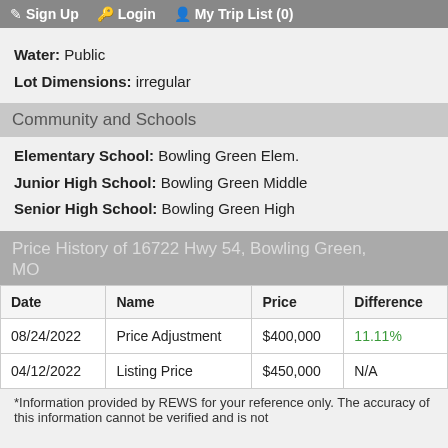Sign Up  Login  My Trip List (0)
Water: Public
Lot Dimensions: irregular
Community and Schools
Elementary School: Bowling Green Elem.
Junior High School: Bowling Green Middle
Senior High School: Bowling Green High
Price History of 16722 Hwy 54, Bowling Green, MO
| Date | Name | Price | Difference |
| --- | --- | --- | --- |
| 08/24/2022 | Price Adjustment | $400,000 | 11.11% |
| 04/12/2022 | Listing Price | $450,000 | N/A |
*Information provided by REWS for your reference only. The accuracy of this information cannot be verified and is not